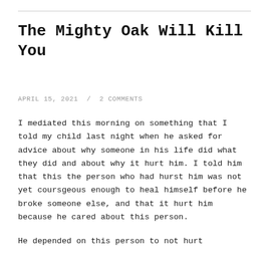The Mighty Oak Will Kill You
APRIL 15, 2021  /  2 COMMENTS
I mediated this morning on something that I told my child last night when he asked for advice about why someone in his life did what they did and about why it hurt him. I told him that this the person who had hurst him was not yet coursgeous enough to heal himself before he broke someone else, and that it hurt him because he cared about this person.
He depended on this person to not hurt